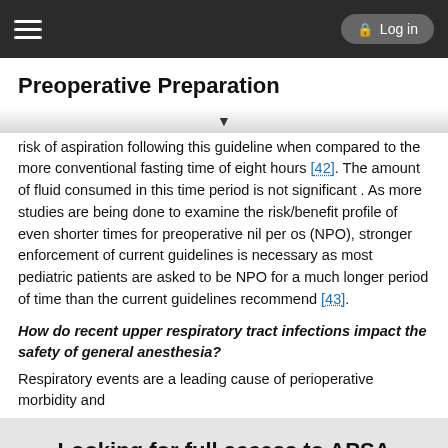Log in
Preoperative Preparation
risk of aspiration following this guideline when compared to the more conventional fasting time of eight hours [42]. The amount of fluid consumed in this time period is not significant . As more studies are being done to examine the risk/benefit profile of even shorter times for preoperative nil per os (NPO), stronger enforcement of current guidelines is necessary as most pediatric patients are asked to be NPO for a much longer period of time than the current guidelines recommend [43].
How do recent upper respiratory tract infections impact the safety of general anesthesia?
Respiratory events are a leading cause of perioperative morbidity and
Looking for full access to APSA Pediatric Surgery Library?
Purchase a subscription
I'm already a subscriber